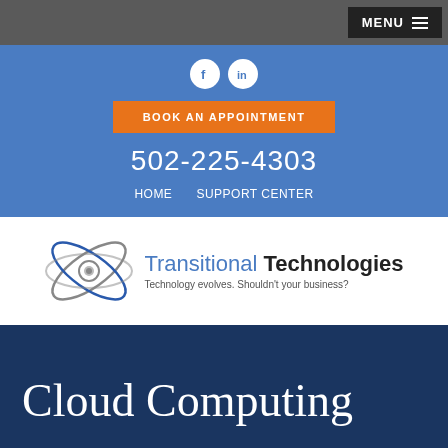MENU
[Figure (logo): Facebook and LinkedIn social media icons (white circles with f and in logos)]
BOOK AN APPOINTMENT
502-225-4303
HOME   SUPPORT CENTER
[Figure (logo): Transitional Technologies logo with atom/orbit graphic. Tagline: Technology evolves. Shouldn't your business?]
Cloud Computing